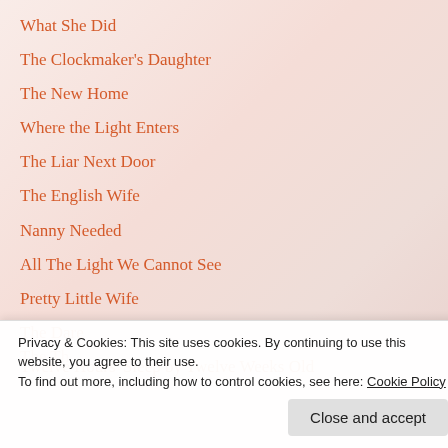What She Did
The Clockmaker's Daughter
The New Home
Where the Light Enters
The Liar Next Door
The English Wife
Nanny Needed
All The Light We Cannot See
Pretty Little Wife
The Dare
Twelve Hours' Sleep by Twelve Weeks Old
The The...
Privacy & Cookies: This site uses cookies. By continuing to use this website, you agree to their use.
To find out more, including how to control cookies, see here: Cookie Policy
Close and accept